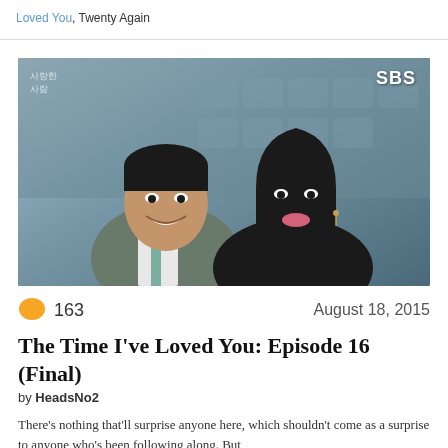Loved You, Twenty Again
[Figure (photo): Promotional photo of two Korean drama actors smiling together, with SBS watermark logo in top right corner. Man in grey suit and woman in black outfit, sitting in what appears to be an auditorium. Korean text watermark in top left.]
163  August 18, 2015
The Time I've Loved You: Episode 16 (Final)
by HeadsNo2
There's nothing that'll surprise anyone here, which shouldn't come as a surprise to anyone who's been following along. But